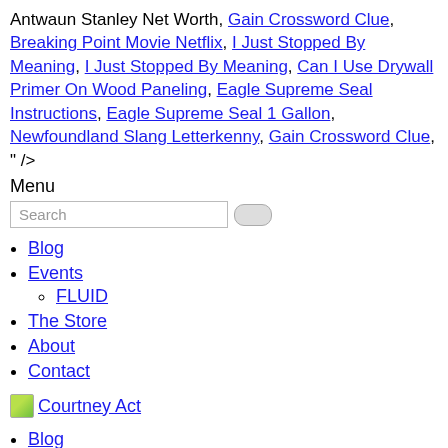Antwaun Stanley Net Worth, Gain Crossword Clue, Breaking Point Movie Netflix, I Just Stopped By Meaning, I Just Stopped By Meaning, Can I Use Drywall Primer On Wood Paneling, Eagle Supreme Seal Instructions, Eagle Supreme Seal 1 Gallon, Newfoundland Slang Letterkenny, Gain Crossword Clue, " />
Menu
Search
Blog
Events
FLUID
The Store
About
Contact
[Figure (logo): Small green/yellow square logo image next to 'Courtney Act' link]
Blog
Courtney Act
Events
Where's Courtney?
FLUID
The Store
Shop Courtney!
About